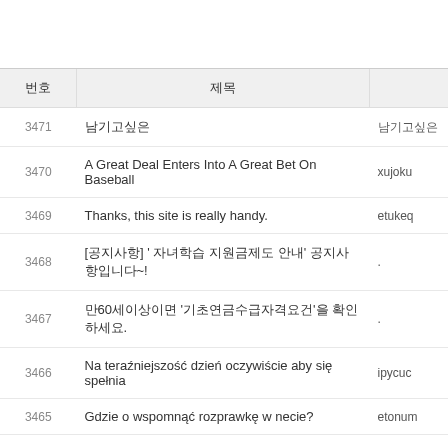| 번호 | 제목 |  |
| --- | --- | --- |
| 3471 | 남기고싶은 | 남기고싶은 |
| 3470 | A Great Deal Enters Into A Great Bet On Baseball | xujoku |
| 3469 | Thanks, this site is really handy. | etukeq |
| 3468 | [공지사항] ' 자녀학습 지원금제도 안내' 공지사항입니다~! | . |
| 3467 | 만60세이상이면 '기초연금수급자격요건'을 확인하세요. | . |
| 3466 | Na teraźniejszość dzień oczywiście aby się spełnia | ipycuc |
| 3465 | Gdzie o wspomnąć rozprawkę w necie? | etonum |
| 3464 | [기후변화대응 종합계획서] 국가별로 온실 가스 감축 목표 제출(INDCs)의 이행을 위한 국내 대책 | 남기고싶은 |
| 3463 | What Are The Regular Ranges For Body Composition? Withings | azudad |
| 3462 | [공지, 반드시! 확인하세요] 이용자 등록 안내 | http://w |
| 3461 | Basically wanted to state I am delighted I happened upon your web site! | oxexog |
| 3460 | In which am i allowed to find mor specifics of this | eqygax |